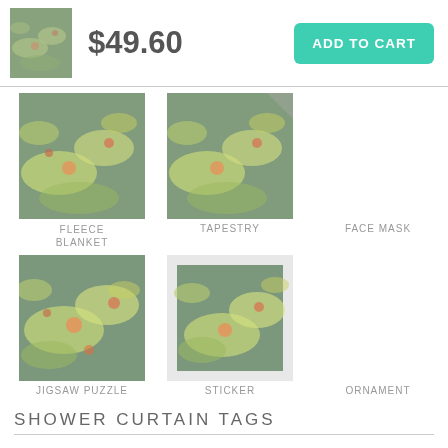[Figure (screenshot): Small thumbnail of Monet water lilies painting used as product preview image in header]
$49.60
ADD TO CART
[Figure (photo): Monet water lilies painting - fleece blanket product]
FLEECE BLANKET
[Figure (photo): Monet water lilies painting - tapestry product]
TAPESTRY
FACE MASK
[Figure (photo): Monet water lilies painting - jigsaw puzzle product]
JIGSAW PUZZLE
[Figure (photo): Monet water lilies painting - sticker product with white frame border]
STICKER
ORNAMENT
SHOWER  CURTAIN  TAGS